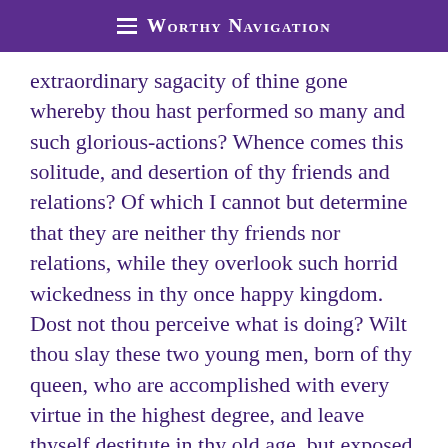Worthy Navigation
extraordinary sagacity of thine gone whereby thou hast performed so many and such glorious-actions? Whence comes this solitude, and desertion of thy friends and relations? Of which I cannot but determine that they are neither thy friends nor relations, while they overlook such horrid wickedness in thy once happy kingdom. Dost not thou perceive what is doing? Wilt thou slay these two young men, born of thy queen, who are accomplished with every virtue in the highest degree, and leave thyself destitute in thy old age, but exposed to one son, who hath very ill managed the hopes thou hast given him,’ and to relations, whose death thou hast so often resolved on thyself? Dost not thou take notice, that the very silence of the multitude at once sees the crime, and